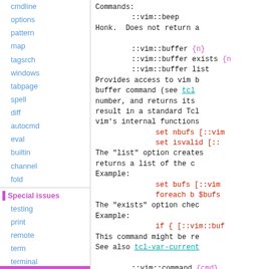cmdline
options
pattern
map
tagsrch
windows
tabpage
spell
diff
autocmd
eval
builtin
channel
fold
Special issues
testing
print
remote
term
terminal
popup
vim9
Commands:
    ::vim::beep
    Honk.  Does not return a

    ::vim::buffer {n}
    ::vim::buffer exists {n}
    ::vim::buffer list
    Provides access to vim b
    buffer command (see tcl
    number, and returns its
    result in a standard Tcl
    vim's internal functions
        set nbufs [::vim
        set isvalid [::
    The "list" option create
    returns a list of the c
    Example:
        set bufs [::vim
        foreach b $bufs
    The "exists" option chec
    Example:
        if { [::vim::but
    This command might be re
    See also tcl-var-current

    ::vim::command {cmd}
    ::vim::command -quiet